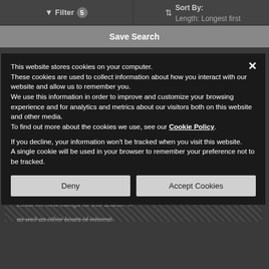Filter 5   Sort By: Length: Longest first
Save Search
[Figure (screenshot): Background showing a boat listing website with a Save Search modal and a cookie consent overlay. Behind the overlay is a striped dialog asking to email new listings, partially visible.]
This website stores cookies on your computer. These cookies are used to collect information about how you interact with our website and allow us to remember you. We use this information in order to improve and customize your browsing experience and for analytics and metrics about our visitors both on this website and other media. To find out more about the cookies we use, see our Cookie Policy.
If you decline, your information won't be tracked when you visit this website. A single cookie will be used in your browser to remember your preference not to be tracked.
Deny   Accept Cookies